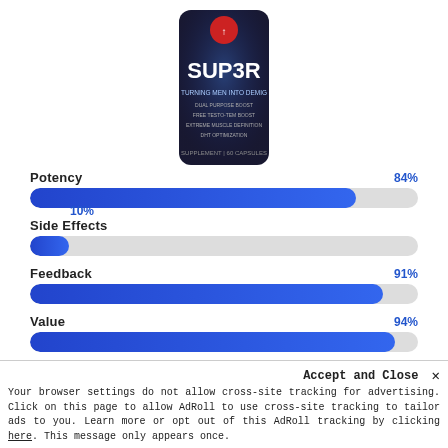[Figure (photo): Product image of SUP3R supplement bottle with blue lightning bolt design on dark background, showing '60 CAPSULES' text]
[Figure (bar-chart): Product Rating Metrics]
[Figure (other): Orange button partially visible at bottom]
Accept and Close ×
Your browser settings do not allow cross-site tracking for advertising. Click on this page to allow AdRoll to use cross-site tracking to tailor ads to you. Learn more or opt out of this AdRoll tracking by clicking here. This message only appears once.